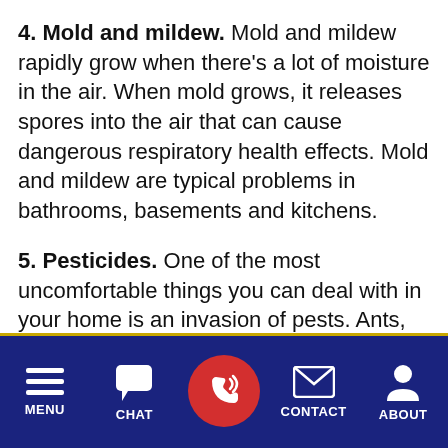4. Mold and mildew. Mold and mildew rapidly grow when there's a lot of moisture in the air. When mold grows, it releases spores into the air that can cause dangerous respiratory health effects. Mold and mildew are typical problems in bathrooms, basements and kitchens.
5. Pesticides. One of the most uncomfortable things you can deal with in your home is an invasion of pests. Ants, cockroaches and spiders can be a startling sight to see in any home. On the other hand, the pesticides used to treat and prevent pests can damage your indoor air quality. The chemicals in pesticides are strong enough to kill insects, and the
MENU  CHAT  CONTACT  ABOUT